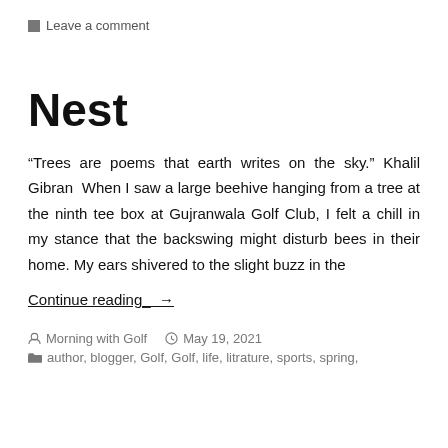Leave a comment
Nest
“Trees are poems that earth writes on the sky.” Khalil Gibran  When I saw a large beehive hanging from a tree at the ninth tee box at Gujranwala Golf Club, I felt a chill in my stance that the backswing might disturb bees in their home. My ears shivered to the slight buzz in the
Continue reading →
Morning with Golf   May 19, 2021
author, blogger, Golf, Golf, life, litrature, sports, spring,